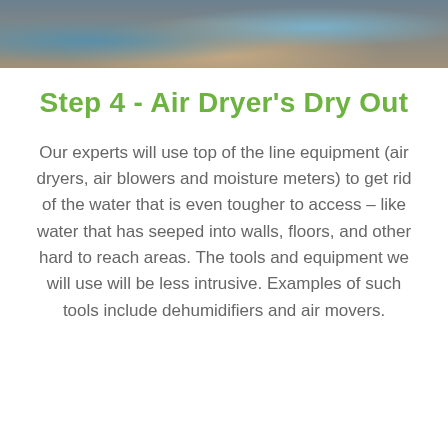[Figure (photo): Photograph showing water damage restoration equipment on a floor with stone or tile surface, blue equipment visible]
Step 4 - Air Dryer's Dry Out
Our experts will use top of the line equipment (air dryers, air blowers and moisture meters) to get rid of the water that is even tougher to access – like water that has seeped into walls, floors, and other hard to reach areas. The tools and equipment we will use will be less intrusive. Examples of such tools include dehumidifiers and air movers.